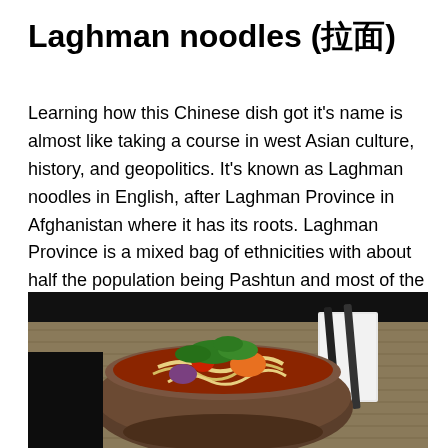Laghman noodles (拉面)
Learning how this Chinese dish got it's name is almost like taking a course in west Asian culture, history, and geopolitics. It's known as Laghman noodles in English, after Laghman Province in Afghanistan where it has its roots. Laghman Province is a mixed bag of ethnicities with about half the population being Pashtun and most of the remainder being either Tajiks or Nuristanis.
[Figure (photo): A bowl of Laghman noodles with vegetables and sauce, with chopsticks resting on a napkin in the background, placed on a woven mat.]